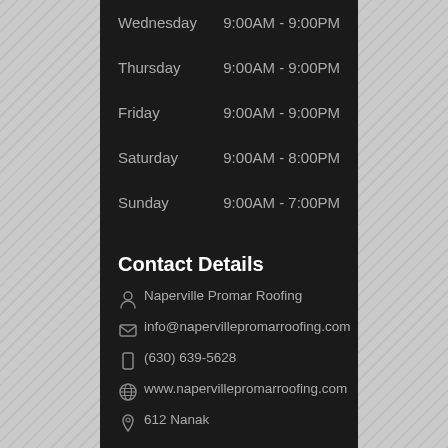Wednesday  9:00AM - 9:00PM
Thursday  9:00AM - 9:00PM
Friday  9:00AM - 9:00PM
Saturday  9:00AM - 8:00PM
Sunday  9:00AM - 7:00PM
Contact Details
Naperville Promar Roofing
info@napervillepromarroofing.com
(630) 639-5628
www.napervillepromarroofing.com
612 Nanak
Naperville, IL 60565
United States